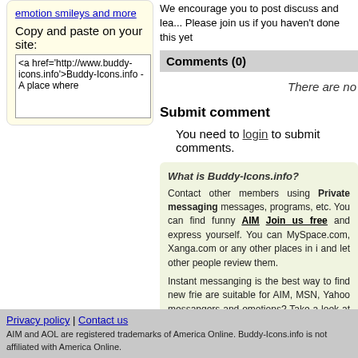emotion smileys and more
Copy and paste on your site:
<a href='http://www.buddy-icons.info'>Buddy-Icons.info - A place where
We encourage you to post discuss and lea... Please join us if you haven't done this yet
Comments (0)
There are no
Submit comment
You need to login to submit comments.
What is Buddy-Icons.info?
Contact other members using Private messaging messages, programs, etc. You can find funny AIM Join us free and express yourself. You can MySpace.com, Xanga.com or any other places in i and let other people review them.
Instant messanging is the best way to find new frie are suitable for AIM, MSN, Yahoo messangers and emotions? Take a look at thousands of emotions o
Privacy policy | Contact us
AIM and AOL are registered trademarks of America Online. Buddy-Icons.info is not affiliated with America Online.